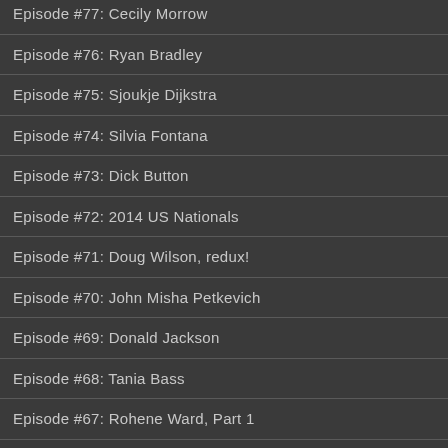Episode #77: Cecily Morrow
Episode #76: Ryan Bradley
Episode #75: Sjoukje Dijkstra
Episode #74: Silvia Fontana
Episode #73: Dick Button
Episode #72: 2014 US Nationals
Episode #71: Doug Wilson, redux!
Episode #70: John Misha Petkevich
Episode #69: Donald Jackson
Episode #68: Tania Bass
Episode #67: Rohene Ward, Part 1
Episode #66: Ricky Harris
Episode #65: Caryn Kadavy